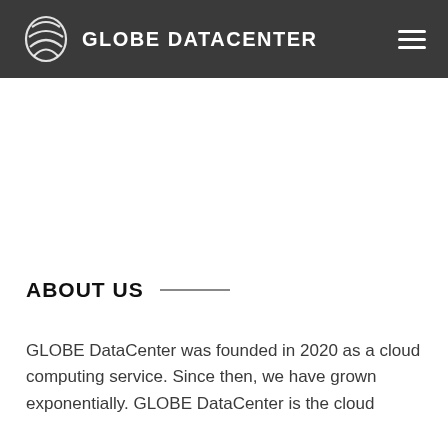GLOBE DATACENTER
ABOUT US
GLOBE DataCenter was founded in 2020 as a cloud computing service. Since then, we have grown exponentially. GLOBE DataCenter is the cloud